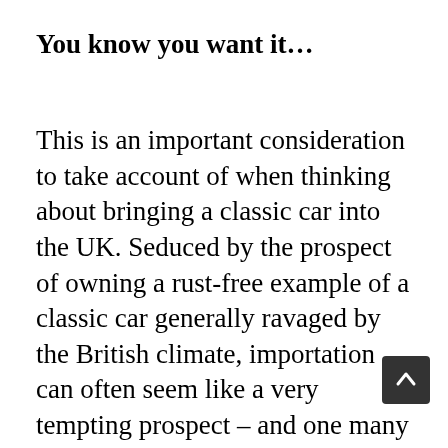You know you want it…
This is an important consideration to take account of when thinking about bringing a classic car into the UK. Seduced by the prospect of owning a rust-free example of a classic car generally ravaged by the British climate, importation can often seem like a very tempting prospect – and one many PC readers consider regularly. Judging by the number of Simcas, Monicas, DKWs and other oddities out there on foreign soil, there's a rich sea[f] classics to be tapped into; wouldn't it b[e] nice to bring them all home…